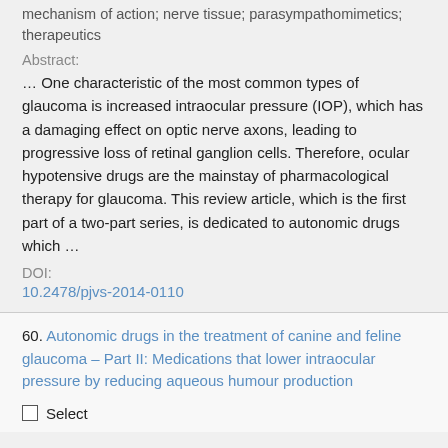mechanism of action; nerve tissue; parasympathomimetics; therapeutics
Abstract:
… One characteristic of the most common types of glaucoma is increased intraocular pressure (IOP), which has a damaging effect on optic nerve axons, leading to progressive loss of retinal ganglion cells. Therefore, ocular hypotensive drugs are the mainstay of pharmacological therapy for glaucoma. This review article, which is the first part of a two-part series, is dedicated to autonomic drugs which …
DOI:
10.2478/pjvs-2014-0110
60. Autonomic drugs in the treatment of canine and feline glaucoma – Part II: Medications that lower intraocular pressure by reducing aqueous humour production
Select